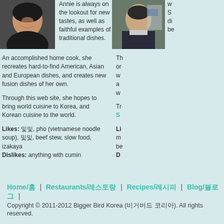[Figure (photo): Photo of a young woman with dark hair, smiling]
Annie is always on the lookout for new tastes, as well as faithful examples of traditional dishes.

An accomplished home cook, she recreates hard-to-find American, Asian and European dishes, and creates new fusion dishes of her own.

Through this web site, she hopes to bring world cuisine to Korea, and Korean cuisine to the world.

Likes: [Korean], pho (vietnamese noodle soup), [Korean], beef stew, slow food, izakaya
Dislikes: anything with cumin
[Figure (photo): Photo of a man in a suit and tie]
Partial text visible on right side (cut off)
Home/홈 | Restaurants/레스토랑 | Recipes/레시피 | Blog/블로그 |
Copyright © 2011-2012 Bigger Bird Korea (비거버드 코리아). All rights reserved.